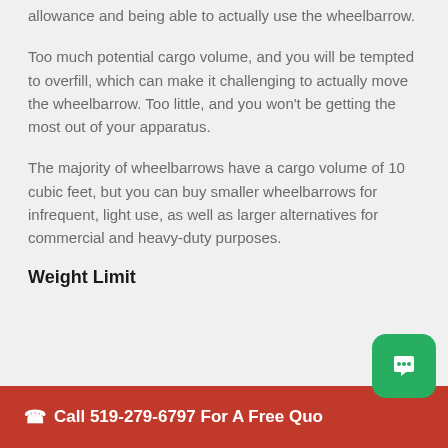allowance and being able to actually use the wheelbarrow.
Too much potential cargo volume, and you will be tempted to overfill, which can make it challenging to actually move the wheelbarrow. Too little, and you won't be getting the most out of your apparatus.
The majority of wheelbarrows have a cargo volume of 10 cubic feet, but you can buy smaller wheelbarrows for infrequent, light use, as well as larger alternatives for commercial and heavy-duty purposes.
Weight Limit
Call 519-279-6797 For A Free Quote